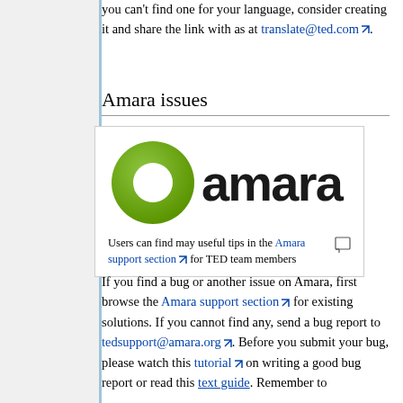you can't find one for your language, consider creating it and share the link with as at translate@ted.com.
Amara issues
[Figure (logo): Amara logo: green circular ring icon with text 'amara' in bold black]
Users can find may useful tips in the Amara support section for TED team members
If you find a bug or another issue on Amara, first browse the Amara support section for existing solutions. If you cannot find any, send a bug report to tedsupport@amara.org. Before you submit your bug, please watch this tutorial on writing a good bug report or read this text guide. Remember to